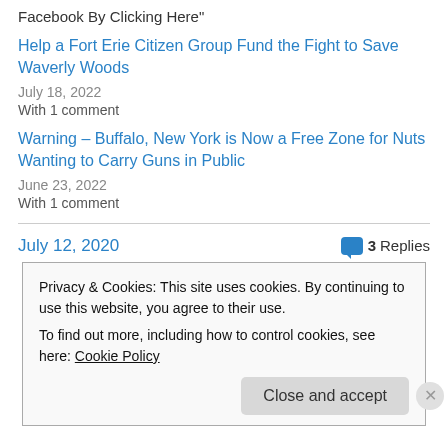Facebook By Clicking Here"
Help a Fort Erie Citizen Group Fund the Fight to Save Waverly Woods
July 18, 2022
With 1 comment
Warning – Buffalo, New York is Now a Free Zone for Nuts Wanting to Carry Guns in Public
June 23, 2022
With 1 comment
July 12, 2020
3 Replies
Privacy & Cookies: This site uses cookies. By continuing to use this website, you agree to their use.
To find out more, including how to control cookies, see here: Cookie Policy
Close and accept